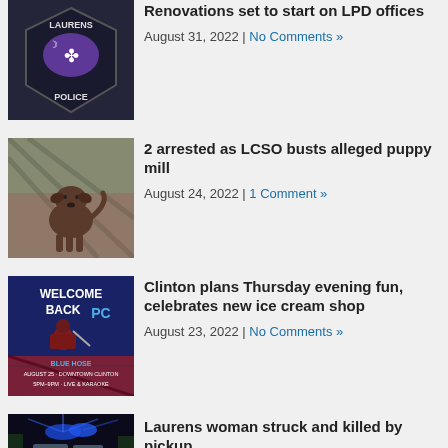[Figure (photo): Laurens Police Department badge/patch logo on dark background]
Renovations set to start on LPD offices
August 31, 2022 | No Comments »
[Figure (photo): Brown dog standing in dirt yard behind fence]
2 arrested as LCSO busts alleged puppy mill
August 24, 2022 | 1 Comment »
[Figure (photo): Welcome Back PC Blue Hose event poster, August 25, Downtown Clinton 5PM-9PM, Live & Karaoke]
Clinton plans Thursday evening fun, celebrates new ice cream shop
August 23, 2022 | No Comments »
[Figure (photo): Police car with blue lights at night]
Laurens woman struck and killed by pickup